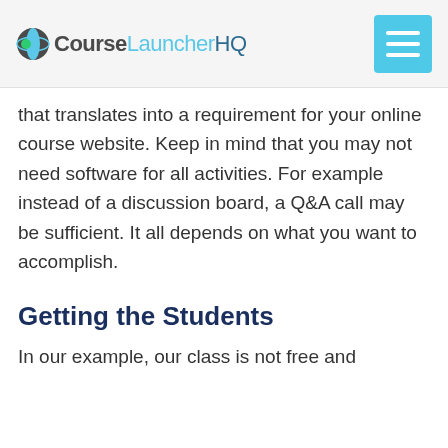CourseLauncherHQ
that translates into a requirement for your online course website. Keep in mind that you may not need software for all activities. For example instead of a discussion board, a Q&A call may be sufficient. It all depends on what you want to accomplish.
Getting the Students
In our example, our class is not free and